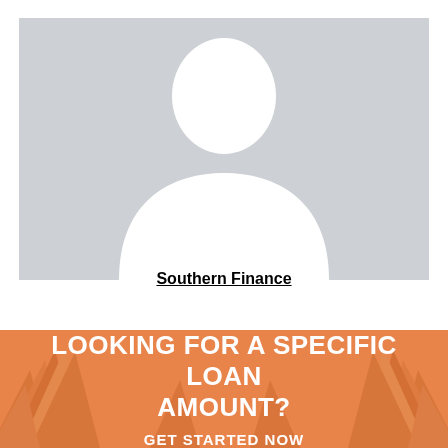[Figure (illustration): Gray placeholder silhouette image of a person (head and shoulders) on a light gray background]
Southern Finance
LOOKING FOR A SPECIFIC LOAN AMOUNT?
GET STARTED NOW